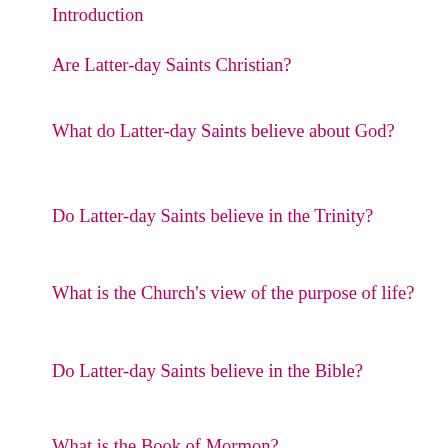Introduction
Are Latter-day Saints Christian?
What do Latter-day Saints believe about God?
Do Latter-day Saints believe in the Trinity?
What is the Church's view of the purpose of life?
Do Latter-day Saints believe in the Bible?
What is the Book of Mormon?
What is a temple?